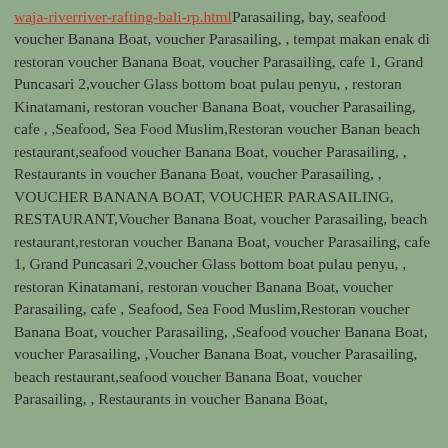waja-riverriver-rafting-bali-rp.html Parasailing,  bay, seafood voucher Banana Boat, voucher Parasailing, , tempat makan enak di restoran voucher Banana Boat, voucher Parasailing,  cafe  1, Grand Puncasari 2,voucher Glass bottom boat pulau penyu, , restoran Kinatamani, restoran  voucher Banana Boat, voucher Parasailing,  cafe , ,Seafood, Sea Food Muslim,Restoran voucher Banan  beach restaurant,seafood voucher Banana Boat, voucher Parasailing, , Restaurants in voucher Banana Boat, voucher Parasailing, ,  VOUCHER BANANA BOAT, VOUCHER PARASAILING,  RESTAURANT,Voucher Banana Boat, voucher Parasailing,  beach restaurant,restoran  voucher Banana Boat, voucher Parasailing,  cafe  1, Grand Puncasari 2,voucher Glass bottom boat pulau penyu, , restoran Kinatamani, restoran  voucher Banana Boat, voucher Parasailing,  cafe , Seafood, Sea Food Muslim,Restoran voucher Banana Boat, voucher Parasailing, ,Seafood voucher Banana Boat, voucher Parasailing, ,Voucher Banana Boat, voucher Parasailing,  beach restaurant,seafood voucher Banana Boat, voucher Parasailing, , Restaurants in voucher Banana Boat,